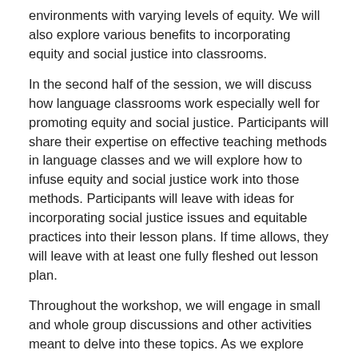environments with varying levels of equity.  We will also explore various benefits to incorporating equity and social justice into classrooms.
In the second half of the session, we will discuss how language classrooms work especially well for promoting equity and social justice.  Participants will share their expertise on effective teaching methods in language classes and we will explore how to infuse equity and social justice work into those methods.  Participants will leave with ideas for incorporating social justice issues and equitable practices into their lesson plans.  If time allows, they will leave with at least one fully fleshed out lesson plan.
Throughout the workshop, we will engage in small and whole group discussions and other activities meant to delve into these topics.  As we explore these issues, some of the discussions may be uncomfortable and challenging for some participants.  The presenter asks that participants come ready to openly explore these various viewpoints, be respectful of others' opinions, and be open to having their perspectives challenged.